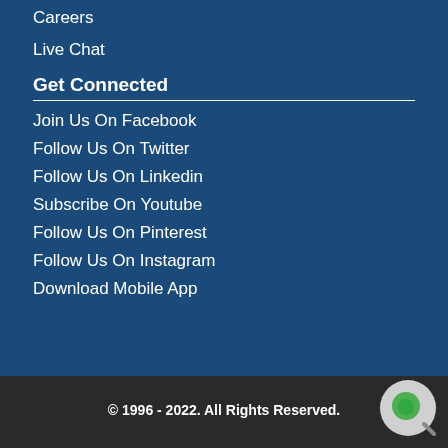Careers
Live Chat
Get Connected
Join Us On Facebook
Follow Us On Twitter
Follow Us On Linkedin
Subscribe On Youtube
Follow Us On Pinterest
Follow Us On Instagram
Download Mobile App
© 1996 - 2022. All Rights Reserved.